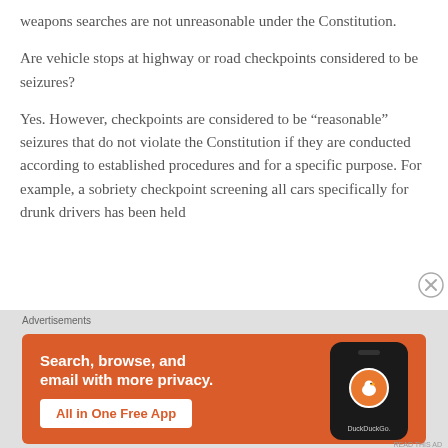weapons searches are not unreasonable under the Constitution.
Are vehicle stops at highway or road checkpoints considered to be seizures?
Yes. However, checkpoints are considered to be “reasonable” seizures that do not violate the Constitution if they are conducted according to established procedures and for a specific purpose. For example, a sobriety checkpoint screening all cars specifically for drunk drivers has been held
[Figure (infographic): DuckDuckGo advertisement banner on orange-red background. Text reads 'Search, browse, and email with more privacy. All in One Free App' with DuckDuckGo logo and smartphone image on the right.]
Advertisements